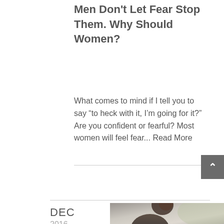Men Don't Let Fear Stop Them. Why Should Women?
What comes to mind if I tell you to say “to heck with it, I’m going for it?” Are you confident or fearful? Most women will feel fear... Read More
Read More
[Figure (photo): Partial photo of a woman with dark curly hair, wearing a dark jacket, visible from approximately the shoulders up, cropped at bottom of page.]
DEC
2016